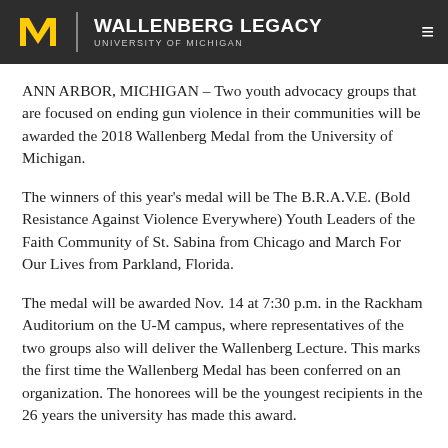WALLENBERG LEGACY — UNIVERSITY OF MICHIGAN
ANN ARBOR, MICHIGAN – Two youth advocacy groups that are focused on ending gun violence in their communities will be awarded the 2018 Wallenberg Medal from the University of Michigan.
The winners of this year's medal will be The B.R.A.V.E. (Bold Resistance Against Violence Everywhere) Youth Leaders of the Faith Community of St. Sabina from Chicago and March For Our Lives from Parkland, Florida.
The medal will be awarded Nov. 14 at 7:30 p.m. in the Rackham Auditorium on the U-M campus, where representatives of the two groups also will deliver the Wallenberg Lecture. This marks the first time the Wallenberg Medal has been conferred on an organization. The honorees will be the youngest recipients in the 26 years the university has made this award.